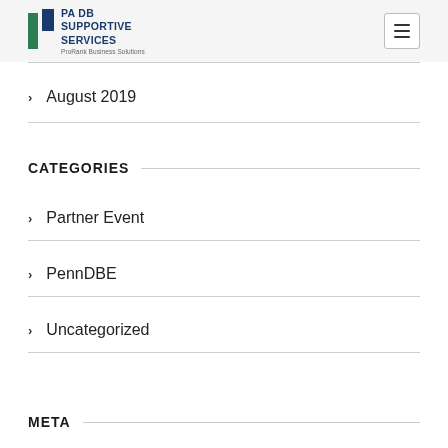PA DB SUPPORTIVE SERVICES — ProRank Business Solutions
August 2019
CATEGORIES
Partner Event
PennDBE
Uncategorized
META